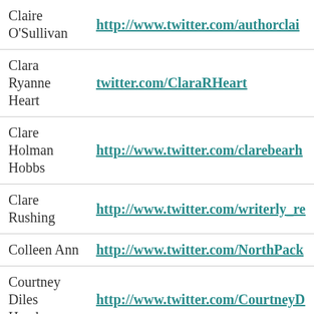| Name | URL |
| --- | --- |
| Claire O'Sullivan | http://www.twitter.com/authorclai... |
| Clara Ryanne Heart | twitter.com/ClaraRHeart |
| Clare Holman Hobbs | http://www.twitter.com/clarebearh... |
| Clare Rushing | http://www.twitter.com/writerly_re... |
| Colleen Ann | http://www.twitter.com/NorthPack... |
| Courtney Diles Henderson | http://www.twitter.com/CourtneyD... |
| Craig O'Connor | http://www.twitter.com/oconnor27... |
| Crystal | twitter.com/itscryss... |